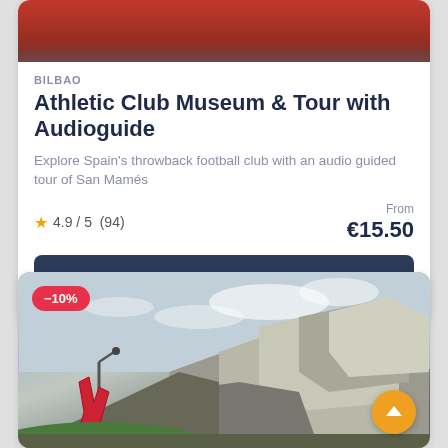[Figure (photo): Top portion of stadium with red seating — Athletic Club San Mamés stadium]
BILBAO
Athletic Club Museum & Tour with Audioguide
Explore Spain's throwback football club with an audio guided tour of San Mamés
★ 4.9 / 5  (94)
From €15.50
Book now
[Figure (photo): Guggenheim Museum Bilbao — metallic titanium-clad building exterior with red sculpture and cloudy sky, showing —10% discount badge]